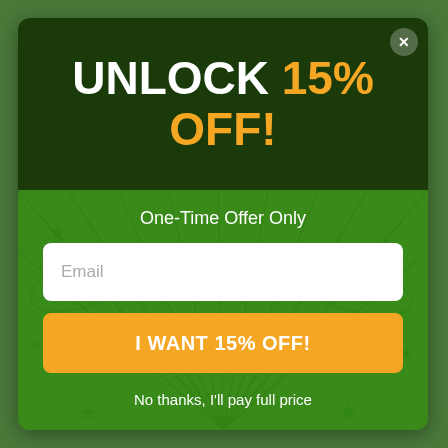UNLOCK 15% OFF!
One-Time Offer Only
Email
I WANT 15% OFF!
No thanks, I'll pay full price